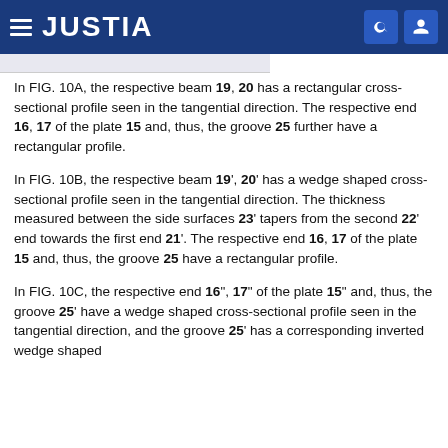JUSTIA
In FIG. 10A, the respective beam 19, 20 has a rectangular cross-sectional profile seen in the tangential direction. The respective end 16, 17 of the plate 15 and, thus, the groove 25 further have a rectangular profile.
In FIG. 10B, the respective beam 19', 20' has a wedge shaped cross-sectional profile seen in the tangential direction. The thickness measured between the side surfaces 23' tapers from the second 22' end towards the first end 21'. The respective end 16, 17 of the plate 15 and, thus, the groove 25 have a rectangular profile.
In FIG. 10C, the respective end 16", 17" of the plate 15" and, thus, the groove 25' have a wedge shaped cross-sectional profile seen in the tangential direction, and the groove 25' has a corresponding inverted wedge shaped cross-sectional profile. The thickness measured between the...